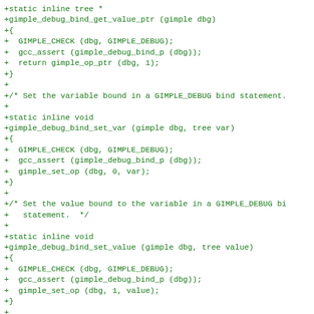+static inline tree *
+gimple_debug_bind_get_value_ptr (gimple dbg)
+{
+  GIMPLE_CHECK (dbg, GIMPLE_DEBUG);
+  gcc_assert (gimple_debug_bind_p (dbg));
+  return gimple_op_ptr (dbg, 1);
+}
+
+/* Set the variable bound in a GIMPLE_DEBUG bind statement.
+
+static inline void
+gimple_debug_bind_set_var (gimple dbg, tree var)
+{
+  GIMPLE_CHECK (dbg, GIMPLE_DEBUG);
+  gcc_assert (gimple_debug_bind_p (dbg));
+  gimple_set_op (dbg, 0, var);
+}
+
+/* Set the value bound to the variable in a GIMPLE_DEBUG bi
+   statement.  */
+
+static inline void
+gimple_debug_bind_set_value (gimple dbg, tree value)
+{
+  GIMPLE_CHECK (dbg, GIMPLE_DEBUG);
+  gcc_assert (gimple_debug_bind_p (dbg));
+  gimple_set_op (dbg, 1, value);
+}
+
+/* The second operand of a GIMPLE_DEBUG_BIND, when the valu
+   optimized away.  */
+#define GIMPLE_DEBUG_BIND_NOVALUE_NULL_TREE /* error_mark